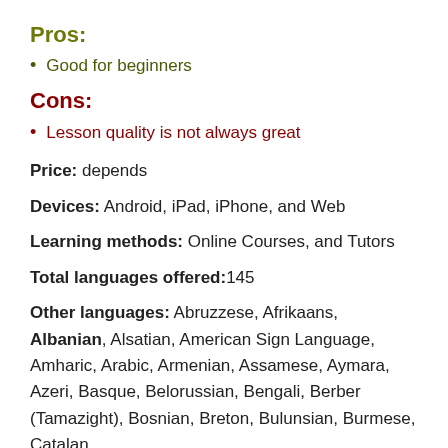Pros:
Good for beginners
Cons:
Lesson quality is not always great
Price: depends
Devices: Android, iPad, iPhone, and Web
Learning methods: Online Courses, and Tutors
Total languages offered:145
Other languages: Abruzzese, Afrikaans, Albanian, Alsatian, American Sign Language, Amharic, Arabic, Armenian, Assamese, Aymara, Azeri, Basque, Belorussian, Bengali, Berber (Tamazight), Bosnian, Breton, Bulgarian, Burmese, Catalan, ...